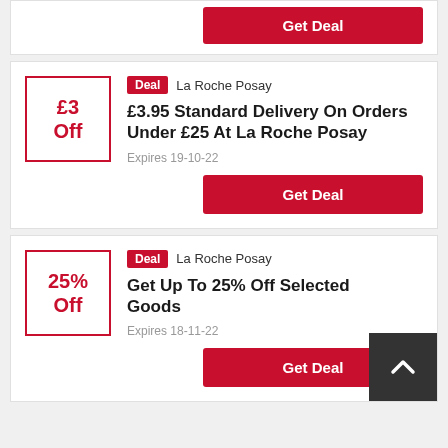[Figure (other): Partial top card showing only a red Get Deal button]
Deal  La Roche Posay
£3.95 Standard Delivery On Orders Under £25 At La Roche Posay
Expires 19-10-22
Get Deal
Deal  La Roche Posay
Get Up To 25% Off Selected Goods
Expires 18-11-22
Get Deal